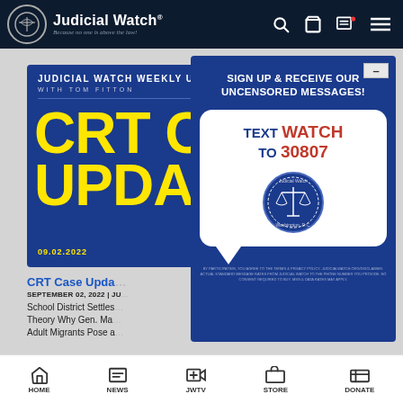[Figure (screenshot): Judicial Watch website screenshot showing the Judicial Watch logo and navigation bar at top, a 'Judicial Watch Weekly Update with Tom Fitton' card showing 'CRT UPDATE' in yellow text with date 09.02.2022, overlaid by a popup card saying 'SIGN UP & RECEIVE OUR UNCENSORED MESSAGES! TEXT WATCH TO 30807' with Judicial Watch seal, article previews for 'CRT Case Update' dated September 02, 2022, and a bottom navigation bar with HOME, NEWS, JWTV, STORE, DONATE.]